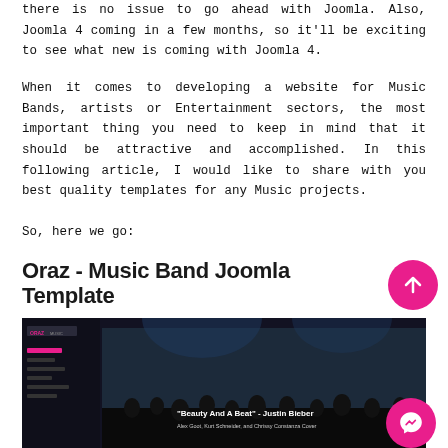there is no issue to go ahead with Joomla. Also, Joomla 4 coming in a few months, so it'll be exciting to see what new is coming with Joomla 4.
When it comes to developing a website for Music Bands, artists or Entertainment sectors, the most important thing you need to keep in mind that it should be attractive and accomplished. In this following article, I would like to share with you best quality templates for any Music projects.
So, here we go:
Oraz - Music Band Joomla Template
[Figure (screenshot): Screenshot of the Oraz Music Joomla template showing a dark themed music website with navigation menu on left, and a concert stage image with text 'Beauty And A Beat' - Justin Bieber, Alex Goot, Kurt Schneider, and Chrissy Constanza Cover]